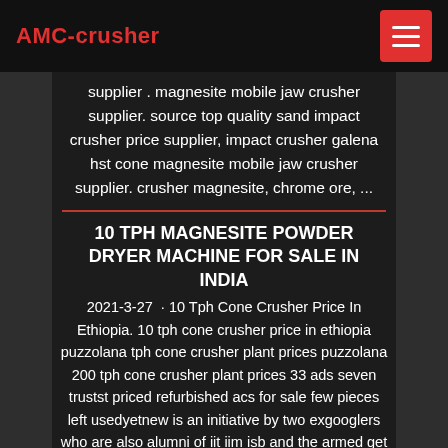AMC-crusher
supplier . magnesite mobile jaw crusher supplier. source top quality sand impact crusher price supplier, impact crusher galena hst cone magnesite mobile jaw crusher supplier. crusher magnesite, chrome ore, ...
10 TPH MAGNESITE POWDER DRYER MACHINE FOR SALE IN INDIA
2021-3-27 · 10 Tph Cone Crusher Price In Ethiopia. 10 tph cone crusher price in ethiopia puzzolana tph cone crusher plant prices puzzolana 200 tph cone crusher plant prices 33 ads seven trustst priced refurbished acs for sale few pieces left usedyetnew is an initiative by two exgooglers who are also alumni of iit iim isb and the armed get price and support online Javal ZYC Cone Crusher ZYC Cone